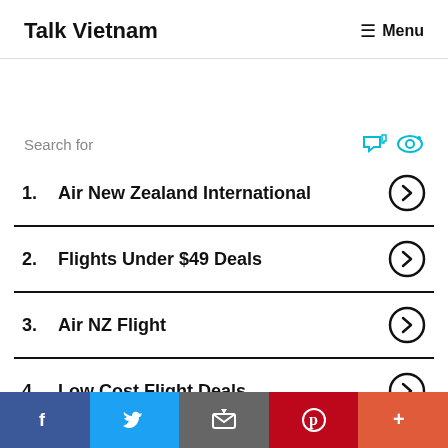Talk Vietnam   ≡ Menu
Search for
1. Air New Zealand International
2. Flights Under $49 Deals
3. Air NZ Flight
4. Low Cost Flight Deals
5. Frontier Airline Tickets
Confirming air new zealand flights
f  Twitter  Email  Pinterest  More